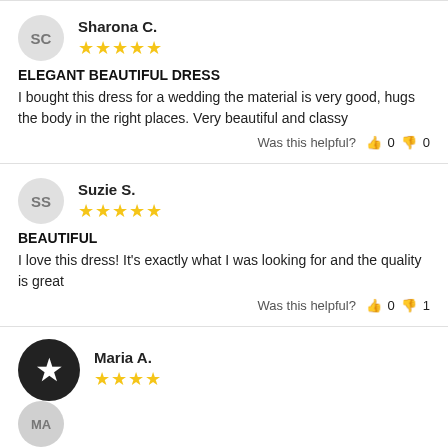Sharona C. — 5 stars
ELEGANT BEAUTIFUL DRESS
I bought this dress for a wedding the material is very good, hugs the body in the right places. Very beautiful and classy
Was this helpful? 👍 0 👎 0
Suzie S. — 5 stars
BEAUTIFUL
I love this dress! It's exactly what I was looking for and the quality is great
Was this helpful? 👍 0 👎 1
Maria A.